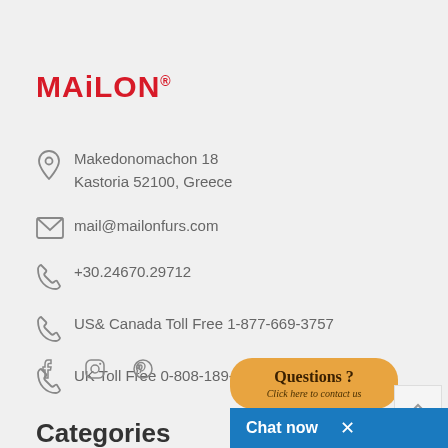[Figure (logo): MAiLON logo in red bold text with registered trademark superscript]
Makedonomachon 18
Kastoria 52100, Greece
mail@mailonfurs.com
+30.24670.29712
US& Canada Toll Free 1-877-669-3757
UK Toll Free 0-808-189-3347
[Figure (other): Social media icons: Facebook, Instagram, Pinterest]
[Figure (other): Orange speech bubble with text 'Questions ? Click here to contact us']
[Figure (other): Scroll to top arrow button]
[Figure (screenshot): Blue chat now bar with white text and X close button]
Categories